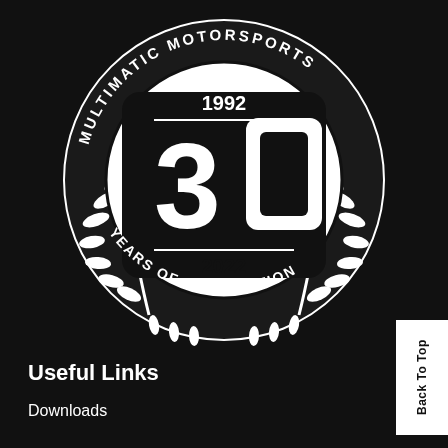[Figure (logo): Multimatic Motorsports 30 Years of Competition (1992-2022) circular logo with laurel wreath, white on black background, featuring stylized '30' numeral in center]
Back To Top
Useful Links
Downloads